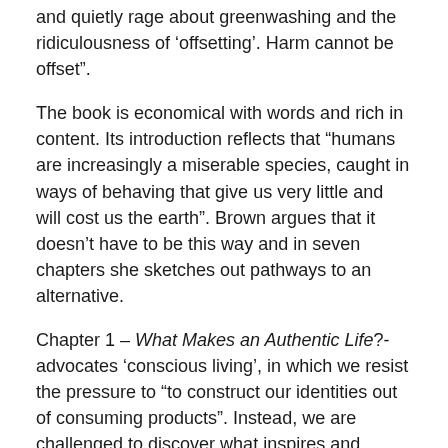and quietly rage about greenwashing and the ridiculousness of ‘offsetting’. Harm cannot be offset”.
The book is economical with words and rich in content. Its introduction reflects that “humans are increasingly a miserable species, caught in ways of behaving that give us very little and will cost us the earth”. Brown argues that it doesn’t have to be this way and in seven chapters she sketches out pathways to an alternative.
Chapter 1 – What Makes an Authentic Life?- advocates ‘conscious living’, in which we resist the pressure to “to construct our identities out of consuming products”. Instead, we are challenged to discover what inspires and uplifts us, and to build meaningful relationships, with creative and productive communities emancipated from the trance of consumerism.